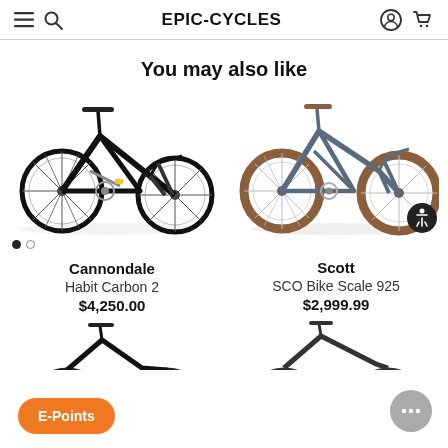EPIC-CYCLES
You may also like
[Figure (photo): Black full-suspension mountain bike (Cannondale Habit Carbon 2) with dot carousel indicators below]
[Figure (photo): Blue/grey hardtail mountain bike with tan/brown tires (Scott SCO Bike Scale 925) with accessibility button overlay]
Cannondale
Habit Carbon 2
$4,250.00
Scott
SCO Bike Scale 925
$2,999.99
[Figure (photo): Partial view of a dark mountain bike at bottom left]
[Figure (photo): Partial view of a dark road/mountain bike at bottom right]